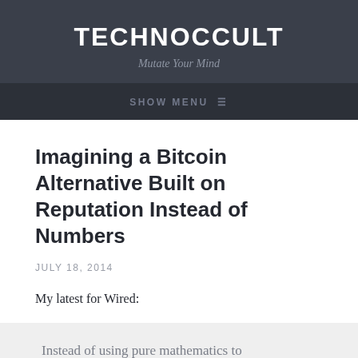TECHNOCCULT
Mutate Your Mind
SHOW MENU ≡
Imagining a Bitcoin Alternative Built on Reputation Instead of Numbers
JULY 18, 2014
My latest for Wired:
Instead of using pure mathematics to